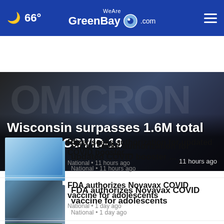66° WeAreGreenBay.com
Wisconsin surpasses 1.6M total cases of COVID-19
Coronavirus · 11 hours ago
Pfizer seeks authorization for updated COVID booster ... National · 11 hours ago
FDA authorizes Novavax COVID vaccine for adolescents National · 1 day ago
Warren Gerds/Review: Packers musical has a saga, ... Critic At Large · 2 days ago
View All Coronavirus ›